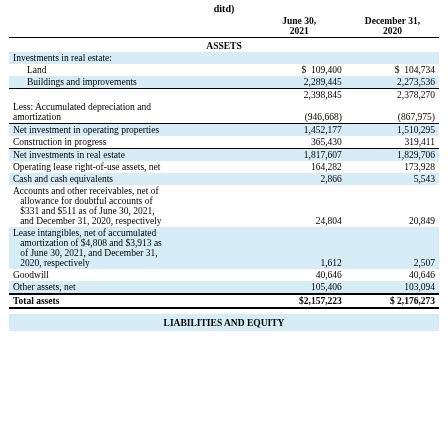ditd)
|  | June 30, 2021 | December 31, 2020 |
| --- | --- | --- |
| ASSETS |  |  |
| Investments in real estate: |  |  |
| Land | $ 109,400 | $ 104,734 |
| Buildings and improvements | 2,289,445 | 2,273,536 |
|  | 2,398,845 | 2,378,270 |
| Less: Accumulated depreciation and amortization | (946,668) | (867,975) |
| Net investment in operating properties | 1,452,177 | 1,510,295 |
| Construction in progress | 365,430 | 319,411 |
| Net investments in real estate | 1,817,607 | 1,829,706 |
| Operating lease right-of-use assets, net | 164,282 | 173,928 |
| Cash and cash equivalents | 2,866 | 5,543 |
| Accounts and other receivables, net of allowance for doubtful accounts of $331 and $511 as of June 30, 2021, and December 31, 2020, respectively | 24,804 | 20,849 |
| Lease intangibles, net of accumulated amortization of $4,808 and $3,913 as of June 30, 2021, and December 31, 2020, respectively | 1,612 | 2,507 |
| Goodwill | 40,646 | 40,646 |
| Other assets, net | 105,406 | 103,094 |
| Total assets | $2,157,223 | $ 2,176,273 |
LIABILITIES AND EQUITY